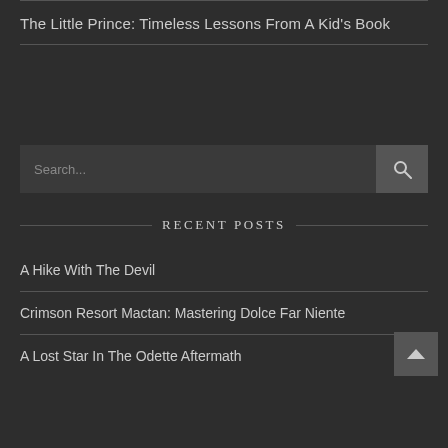The Little Prince: Timeless Lessons From A Kid's Book
RECENT POSTS
A Hike With The Devil
Crimson Resort Mactan: Mastering Dolce Far Niente
A Lost Star In The Odette Aftermath